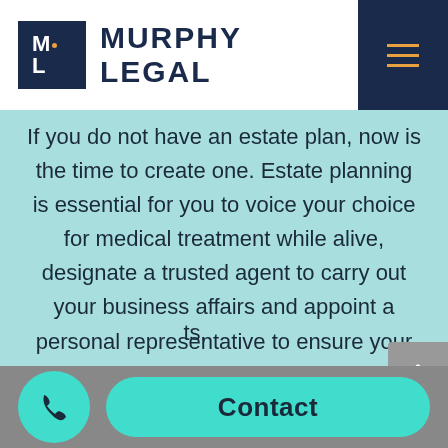ML MURPHY LEGAL
If you do not have an estate plan, now is the time to create one. Estate planning is essential for you to voice your choice for medical treatment while alive, designate a trusted agent to carry out your business affairs and appoint a personal representative to ensure your assets are subject to distribution according to your wishes. Depending on the nature of your ts, one of several types of trusts. If you have
Contact